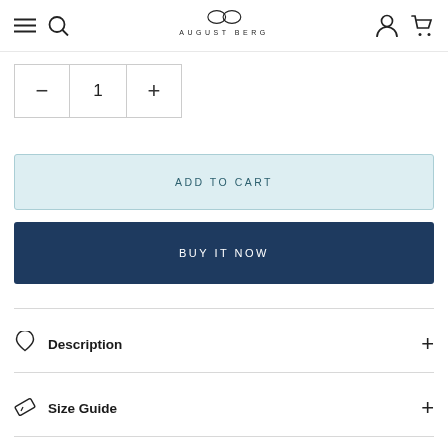August Berg — navigation bar with hamburger, search, logo, account, cart
1 (quantity selector with minus and plus buttons)
ADD TO CART
BUY IT NOW
Description
Size Guide
Returns & Exchange